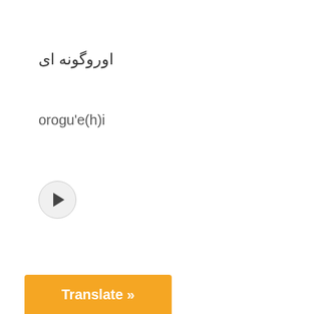اوروگونه ای
orogu'e(h)i
[Figure (other): Audio play button - circular button with a play triangle icon]
Uzbekistan
Translate »